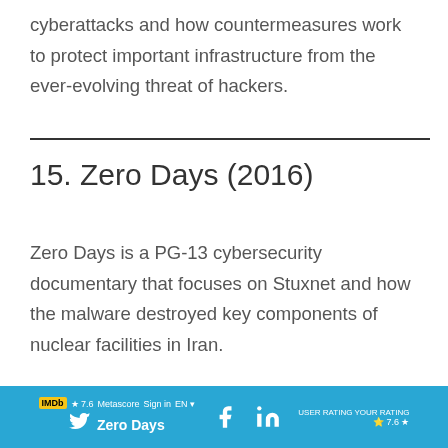cyberattacks and how countermeasures work to protect important infrastructure from the ever-evolving threat of hackers.
15. Zero Days (2016)
Zero Days is a PG-13 cybersecurity documentary that focuses on Stuxnet and how the malware destroyed key components of nuclear facilities in Iran.
Zero Days [social media footer bar with Twitter, Facebook, LinkedIn icons and IMDB rating]